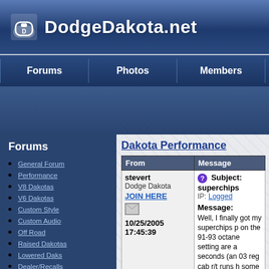DodgeDakota.net
Forums | Photos | Members | ENHANC
[Figure (other): Ad banner area with blue gradient background]
Forums
General Forum
Performance
V8 Dakotas
V6 Dakotas
Custom Style
Custom Audio
Off Road
Raised Dakotas
Lowered Daks
Dealer/Recalls
Members Only
Dakota Performance
| From | Message |
| --- | --- |
| stevert
Dodge Dakota
JOIN HERE
[icon]
10/25/2005
17:45:39 | Subject: superchips
IP: Logged

Message:
Well, I finally got my superchips p on the 91-93 octane setting are a seconds (an 03 reg cab r/t runs h some surfaces I even peel out sh buy for hp/dollar...It kind of upsets potential just to save a few buck |